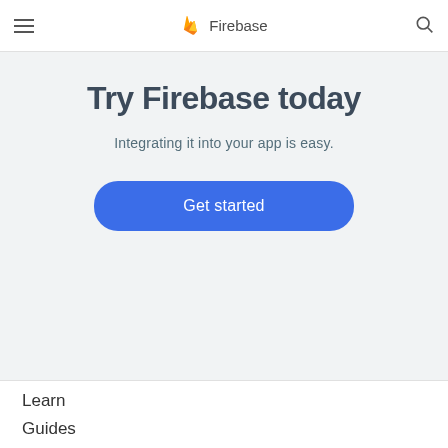Firebase
Try Firebase today
Integrating it into your app is easy.
Get started
Learn
Guides